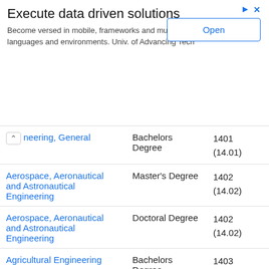[Figure (screenshot): Advertisement banner: 'Execute data driven solutions' with Open button]
| Program | Degree | Code |
| --- | --- | --- |
| Engineering, General | Bachelors Degree | 1401 (14.01) |
| Aerospace, Aeronautical and Astronautical Engineering | Master's Degree | 1402 (14.02) |
| Aerospace, Aeronautical and Astronautical Engineering | Doctoral Degree | 1402 (14.02) |
| Agricultural Engineering | Bachelors Degree | 1403 (14.03) |
| Agricultural Engineering | Master's Degree | 1403 (14.03) |
| Agricultural Engineering | Doctoral Degree | 1403 |